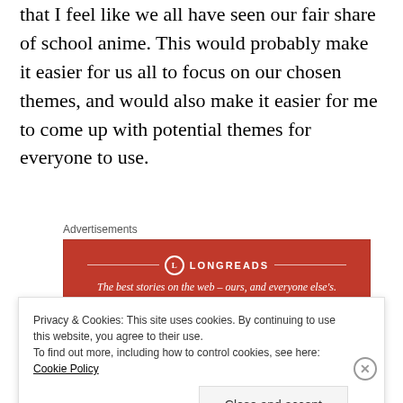that I feel like we all have seen our fair share of school anime. This would probably make it easier for us all to focus on our chosen themes, and would also make it easier for me to come up with potential themes for everyone to use.
Advertisements
[Figure (other): Longreads advertisement banner — red background with logo and tagline 'The best stories on the web – ours, and everyone else's.']
Main reason I put This Art Club Has a Problem! over True Tears is because it's a comedy which I feel like
Privacy & Cookies: This site uses cookies. By continuing to use this website, you agree to their use. To find out more, including how to control cookies, see here: Cookie Policy
Close and accept